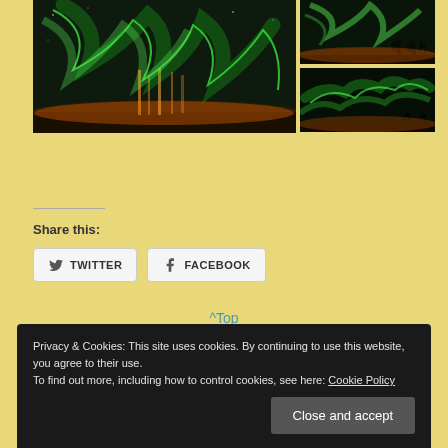[Figure (photo): Aurora borealis (northern lights) photo collage: large main photo on left showing green and orange northern lights over a flat landscape, two smaller photos on the right showing swirling green aurora borealis]
^Top
Share this:
Twitter
Facebook
Privacy & Cookies: This site uses cookies. By continuing to use this website, you agree to their use.
To find out more, including how to control cookies, see here: Cookie Policy
Close and accept